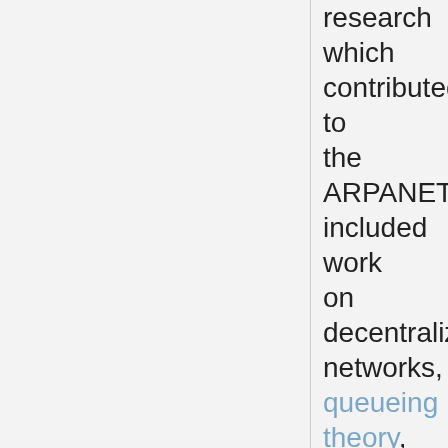research which contributed to the ARPANET included work on decentralized networks, queueing theory, and packet